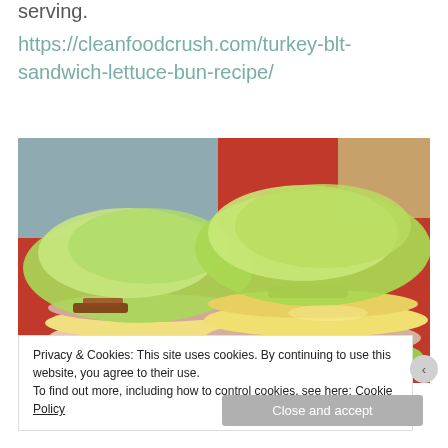serving.
https://cleanfoodcrush.com/turkey-blt-sandwich-lettuce-bun-recipe/
[Figure (photo): Two turkey BLT sandwiches with lettuce bun on a red plate, showing layers of turkey, cheese, bacon, and lettuce wraps]
Privacy & Cookies: This site uses cookies. By continuing to use this website, you agree to their use.
To find out more, including how to control cookies, see here: Cookie Policy
Close and accept